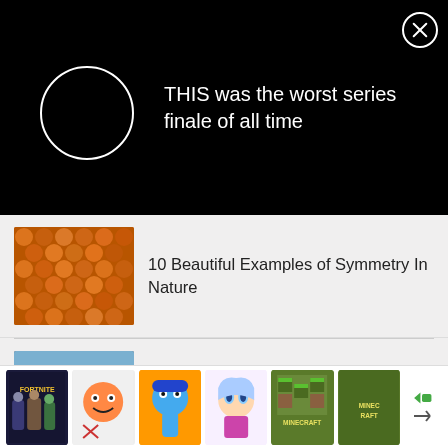[Figure (screenshot): Black notification banner with white circle icon and text 'THIS was the worst series finale of all time' with close X button]
THIS was the worst series finale of all time
[Figure (photo): Thumbnail of honeycomb/orange spherical pattern]
10 Beautiful Examples of Symmetry In Nature
[Figure (photo): Thumbnail of medical/scientific procedure hands]
OUR WORLD
Top 10 Scientific Breakthroughs Of The Month (May 2019)
[Figure (screenshot): Bottom ad strip with app icons: Fortnite, Toca Boca, Blue character game, Anime character, Minecraft, Minecraft]